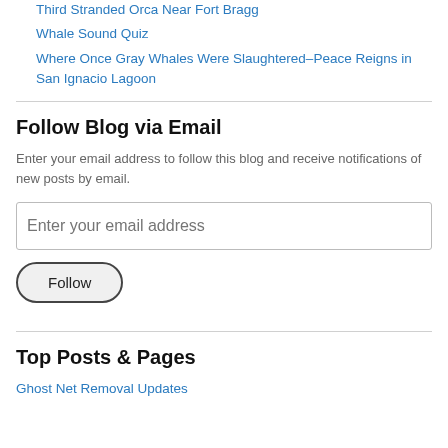Third Stranded Orca Near Fort Bragg
Whale Sound Quiz
Where Once Gray Whales Were Slaughtered–Peace Reigns in San Ignacio Lagoon
Follow Blog via Email
Enter your email address to follow this blog and receive notifications of new posts by email.
Top Posts & Pages
Ghost Net Removal Updates